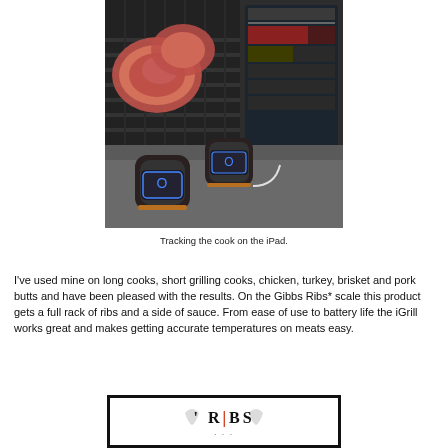[Figure (photo): Photo of raw steaks on a grill grate with two iGrill Bluetooth temperature probe devices and an iPad showing the iGrill app tracking the cook.]
Tracking the cook on the iPad.
I've used mine on long cooks, short grilling cooks, chicken, turkey, brisket and pork butts and have been pleased with the results. On the Gibbs Ribs* scale this product gets a full rack of ribs and a side of sauce. From ease of use to battery life the iGrill works great and makes getting accurate temperatures on meats easy.
[Figure (logo): Gibbs Ribs logo with text and decorative design on white background with black border.]